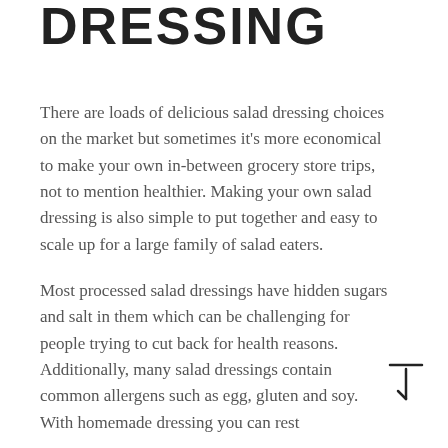DRESSING
There are loads of delicious salad dressing choices on the market but sometimes it's more economical to make your own in-between grocery store trips, not to mention healthier. Making your own salad dressing is also simple to put together and easy to scale up for a large family of salad eaters.
Most processed salad dressings have hidden sugars and salt in them which can be challenging for people trying to cut back for health reasons. Additionally, many salad dressings contain common allergens such as egg, gluten and soy. With homemade dressing you can rest